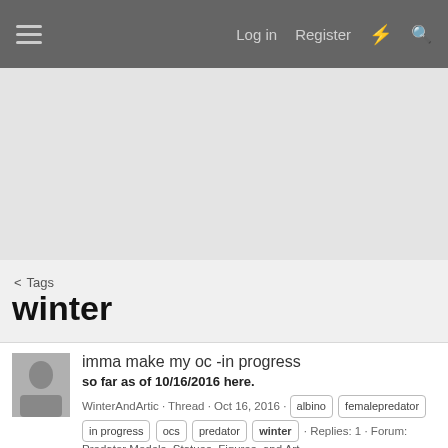Log in  Register
[Figure (other): Advertisement / banner area placeholder]
< Tags
winter
imma make my oc -in progress
so far as of 10/16/2016 here.
WinterAndArtic · Thread · Oct 16, 2016 · albino femalepredator in progress ocs predator winter · Replies: 1 · Forum: Predator Models, Statues, Figures, and Art
Brownie616 The Winter Soldier Costume for 2014 Halloween Contest
Female Winter Soldier costume- build thread here
brownie616 · Media item · Nov 4, 2014 · soldier the